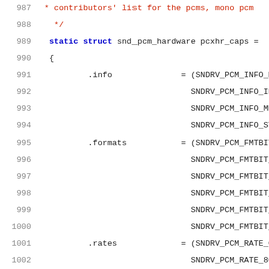[Figure (screenshot): Source code listing in C showing lines 987-1008, defining a static struct snd_pcm_hardware pcxhr_caps with fields including .info, .formats, .rates, .rate_min, .rate_max, .channels_min, .channels_max, .buffer_bytes_max, and a comment about 1 byte == 1 frame.]